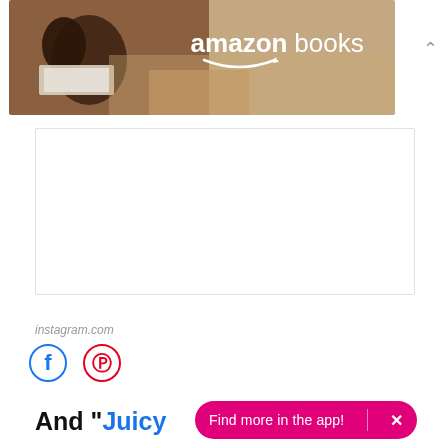[Figure (photo): Amazon Books advertisement banner showing two people reading together, with text 'amazon books' and the Amazon smile arrow logo]
[Figure (other): Empty white box with light gray border, likely a content placeholder or embedded media area]
instagram.com
[Figure (infographic): Two social share icons: circular Facebook icon (blue) and circular Pinterest icon (red/pink)]
And "Juicy
Find more in the app!  ×